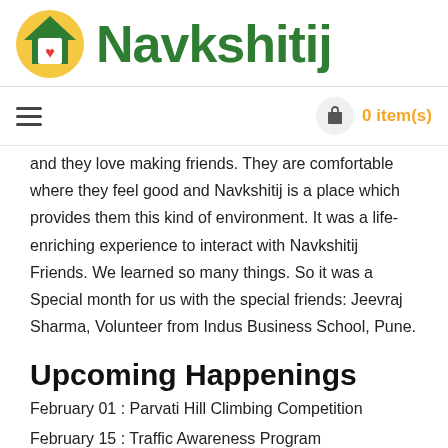[Figure (logo): Navkshitij logo with house icon (golden background, green roof, red heart) and green bold text 'Navkshitij']
and they love making friends. They are comfortable where they feel good and Navkshitij is a place which provides them this kind of environment. It was a life-enriching experience to interact with Navkshitij Friends. We learned so many things. So it was a Special month for us with the special friends: Jeevraj Sharma, Volunteer from Indus Business School, Pune.
Upcoming Happenings
February 01 : Parvati Hill Climbing Competition
February 15 : Traffic Awareness Program